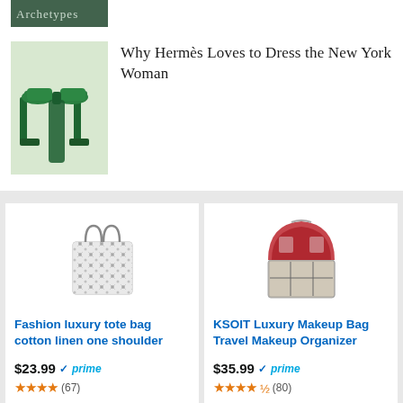[Figure (photo): Partial image at top, dark green background with partial text 'Archetypes']
[Figure (photo): Green high-heel platform shoes on light background]
Why Hermès Loves to Dress the New York Woman
[Figure (photo): Fashion luxury tote bag, black and white floral pattern]
Fashion luxury tote bag cotton linen one shoulder
$23.99 ✓prime
★★★★ (67)
[Figure (photo): KSOIT luxury makeup organizer travel bag, red interior with grid compartments]
KSOIT Luxury Makeup Bag Travel Makeup Organizer
$35.99 ✓prime
★★★★½ (80)